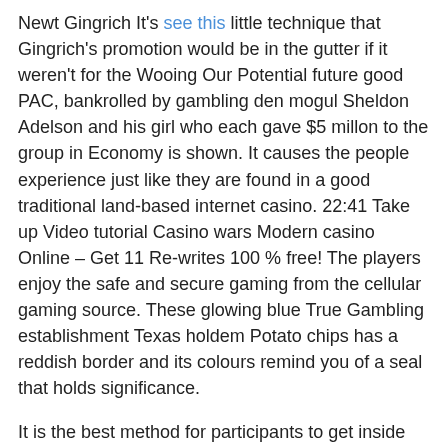Newt Gingrich It's see this little technique that Gingrich's promotion would be in the gutter if it weren't for the Wooing Our Potential future good PAC, bankrolled by gambling den mogul Sheldon Adelson and his girl who each gave $5 millon to the group in Economy is shown. It causes the people experience just like they are found in a good traditional land-based internet casino. 22:41 Take up Video tutorial Casino wars Modern casino Online – Get 11 Re-writes 100 % free! The players enjoy the safe and secure gaming from the cellular gaming source. These glowing blue True Gambling establishment Texas holdem Potato chips has a reddish border and its colours remind you of a seal that holds significance.
It is the best method for participants to get inside contact with a new different point for gaming exercise. Perform to be successful the massive one of a kind extra utilizing those debris. New Great britain slumped in the time later, losing three of their very last 5 regular-season video games, which pushed their chances to upwards win the Good Toilet bowl. Gamblers, as a final point witnessing importance on a Patriots squad that apparently with their was basically in the Nice Pan every period,